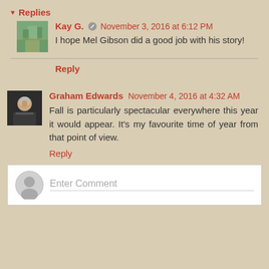▾ Replies
Kay G. 🖊 November 3, 2016 at 6:12 PM
I hope Mel Gibson did a good job with his story!
Reply
Graham Edwards  November 4, 2016 at 4:32 AM
Fall is particularly spectacular everywhere this year it would appear. It's my favourite time of year from that point of view.
Reply
Enter Comment